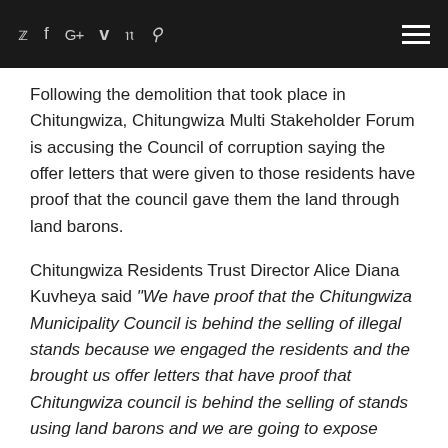Social icons: twitter, facebook, google+, vimeo, pinterest, scribd | Hamburger menu
Following the demolition that took place in Chitungwiza, Chitungwiza Multi Stakeholder Forum is accusing the Council of corruption saying the offer letters that were given to those residents have proof that the council gave them the land through land barons.
Chitungwiza Residents Trust Director Alice Diana Kuvheya said “We have proof that the Chitungwiza Municipality Council is behind the selling of illegal stands because we engaged the residents and the brought us offer letters that have proof that Chitungwiza council is behind the selling of stands using land barons and we are going to expose them ,why did they wait for residents to finish building the houses and demolish their homes at the end, whenever demolitions are to be done, proper legal procedures must be followed as provided for by the Constitution of